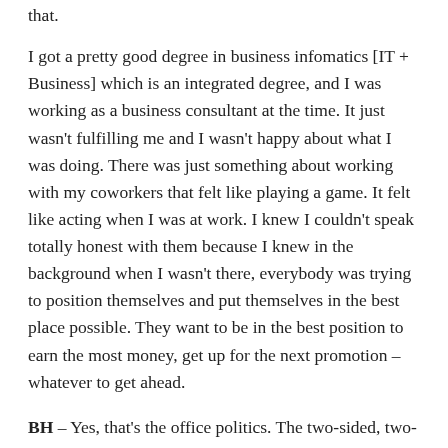that.
I got a pretty good degree in business infomatics [IT + Business] which is an integrated degree, and I was working as a business consultant at the time. It just wasn't fulfilling me and I wasn't happy about what I was doing. There was just something about working with my coworkers that felt like playing a game. It felt like acting when I was at work. I knew I couldn't speak totally honest with them because I knew in the background when I wasn't there, everybody was trying to position themselves and put themselves in the best place possible. They want to be in the best position to earn the most money, get up for the next promotion – whatever to get ahead.
BH – Yes, that's the office politics. The two-sided, two-faced game.
JK – Yeah, and I really hate that. So I decided to study my masters degree on the side in IT Security. So I was working 40 hours a week and had to do my masters degree on the side which